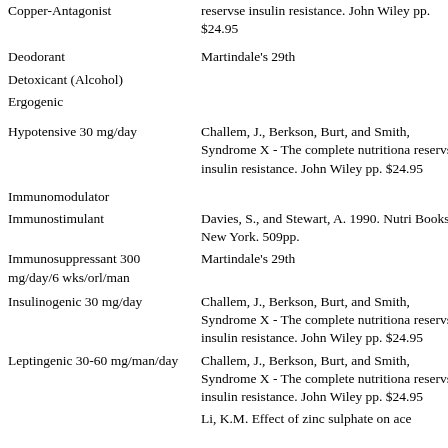| Activity/Dosage | Reference |
| --- | --- |
| Copper-Antagonist | reservse insulin resistance. John Wiley pp. $24.95 |
| Deodorant | Martindale's 29th |
| Detoxicant (Alcohol) |  |
| Ergogenic |  |
| Hypotensive 30 mg/day | Challem, J., Berkson, Burt, and Smith, Syndrome X - The complete nutritiona reservse insulin resistance. John Wiley pp. $24.95 |
| Immunomodulator |  |
| Immunostimulant | Davies, S., and Stewart, A. 1990. Nutri Books, New York. 509pp. |
| Immunosuppressant 300 mg/day/6 wks/orl/man | Martindale's 29th |
| Insulinogenic 30 mg/day | Challem, J., Berkson, Burt, and Smith, Syndrome X - The complete nutritiona reservse insulin resistance. John Wiley pp. $24.95 |
| Leptingenic 30-60 mg/man/day | Challem, J., Berkson, Burt, and Smith, Syndrome X - The complete nutritiona reservse insulin resistance. John Wiley pp. $24.95 |
|  | Li, K.M. Effect of zinc sulphate on ace |